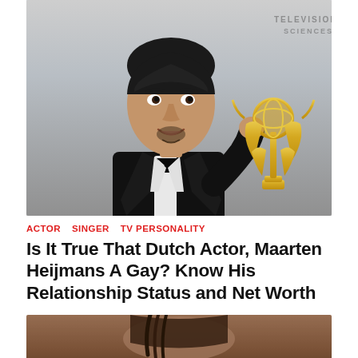[Figure (photo): Man in tuxedo holding an Emmy Award trophy, smiling, at an awards event. Background shows partial text related to Television Academy.]
ACTOR  SINGER  TV PERSONALITY
Is It True That Dutch Actor, Maarten Heijmans A Gay? Know His Relationship Status and Net Worth
[Figure (photo): Partial photo of a person with braided hair, partially visible at bottom of page.]